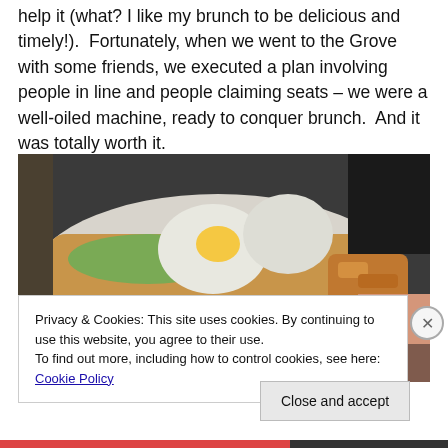help it (what? I like my brunch to be delicious and timely!). Fortunately, when we went to the Grove with some friends, we executed a plan involving people in line and people claiming seats – we were a well-oiled machine, ready to conquer brunch. And it was totally worth it.
[Figure (photo): Close-up photo of a brunch plate with poached eggs, avocado on toast, and fried potatoes being held by a person]
Privacy & Cookies: This site uses cookies. By continuing to use this website, you agree to their use.
To find out more, including how to control cookies, see here: Cookie Policy